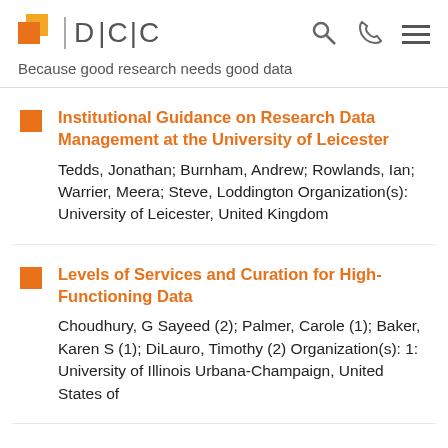DCC | Because good research needs good data
Institutional Guidance on Research Data Management at the University of Leicester — Tedds, Jonathan; Burnham, Andrew; Rowlands, Ian; Warrier, Meera; Steve, Loddington Organization(s): University of Leicester, United Kingdom
Levels of Services and Curation for High-Functioning Data — Choudhury, G Sayeed (2); Palmer, Carole (1); Baker, Karen S (1); DiLauro, Timothy (2) Organization(s): 1: University of Illinois Urbana-Champaign, United States of